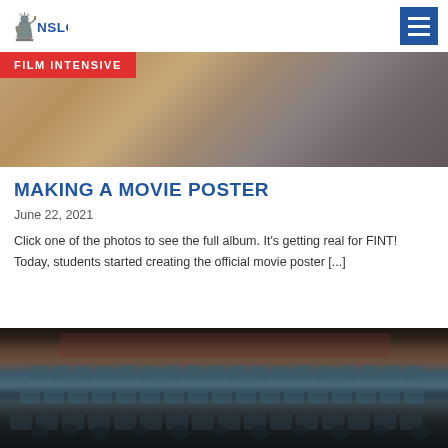NSLC
[Figure (photo): Close-up photo of hands or materials related to film/poster making activity, with a red 'FILM INTENSIVE' badge overlay in the top-left corner]
MAKING A MOVIE POSTER
June 22, 2021
Click one of the photos to see the full album. It's getting real for FINT! Today, students started creating the official movie poster [...]
[Figure (photo): Photo of students seated in a movie theater or auditorium with blue seats, viewed from behind/above]